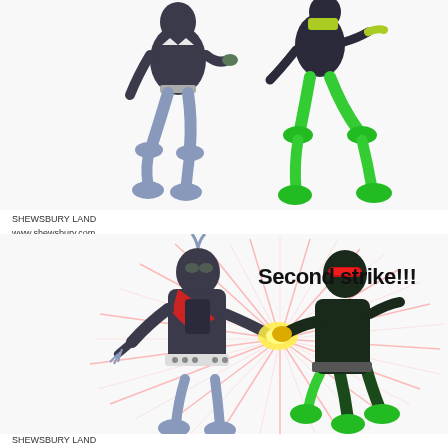[Figure (photo): Two action figures (Kamen Rider style) in dark armor, one with blue-gray lower body and one with bright green legs/feet, posed as if walking or fighting against a white background. Top panel of a two-panel toy photography layout.]
SHEWSBURY LAND
www.shewsbury.com
[Figure (photo): Two Kamen Rider action figures fighting. The left figure (blue-gray, with red scarf and white belt with studs) being struck by the right figure (dark green/black with red visor helmet and green feet). Pink/red radial burst rays emanate from the strike point. Text overlay reads 'Second strike!!!']
Second strike!!!
SHEWSBURY LAND